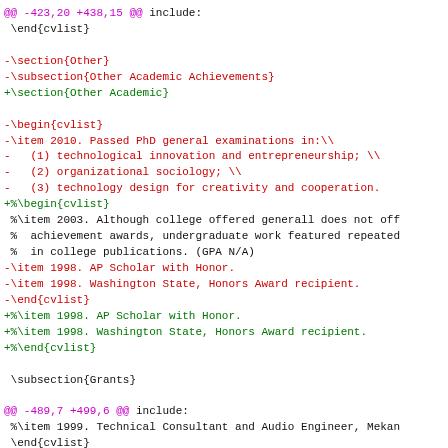@@ -423,20 +438,15 @@ include:
\end{cvlist}
-\section{Other}
-\subsection{Other Academic Achievements}
+\section{Other Academic}
-\begin{cvlist}
-\item 2010. Passed PhD general examinations in:\\
-   (1) technological innovation and entrepreneurship; \\
-   (2) organizational sociology; \\
-   (3) technology design for creativity and cooperation.
+%\begin{cvlist}
%\item 2003. Although college offered generall does not off
%  achievement awards, undergraduate work featured repeated
%  in college publications. (GPA N/A)
-\item 1998. AP Scholar with Honor.
-\item 1998. Washington State, Honors Award recipient.
-\end{cvlist}
+%\item 1998. AP Scholar with Honor.
+%\item 1998. Washington State, Honors Award recipient.
+%\end{cvlist}
\subsection{Grants}
@@ -489,7 +499,6 @@ include:
%\item 1999. Technical Consultant and Audio Engineer, Mekan
\end{cvlist}
-